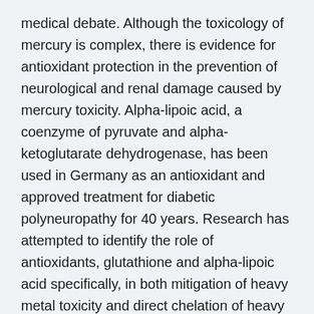medical debate. Although the toxicology of mercury is complex, there is evidence for antioxidant protection in the prevention of neurological and renal damage caused by mercury toxicity. Alpha-lipoic acid, a coenzyme of pyruvate and alpha-ketoglutarate dehydrogenase, has been used in Germany as an antioxidant and approved treatment for diabetic polyneuropathy for 40 years. Research has attempted to identify the role of antioxidants, glutathione and alpha-lipoic acid specifically, in both mitigation of heavy metal toxicity and direct chelation of heavy metals. This review of the literature will assess the role of glutathione and alpha-lipoic acid in the treatment of mercury toxicity.
Metallothionein and glutathione as determinants of cellular protection by toxins of chelation and